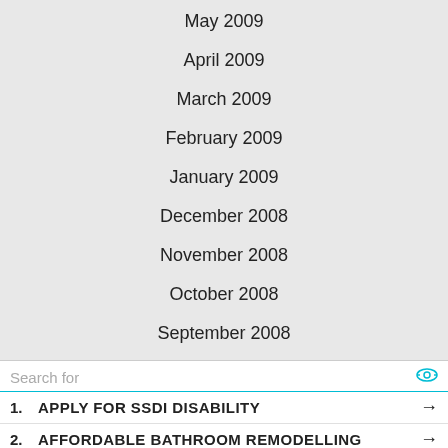May 2009
April 2009
March 2009
February 2009
January 2009
December 2008
November 2008
October 2008
September 2008
August 2008
July 2008
June 2008
Search for
1. APPLY FOR SSDI DISABILITY
2. AFFORDABLE BATHROOM REMODELLING